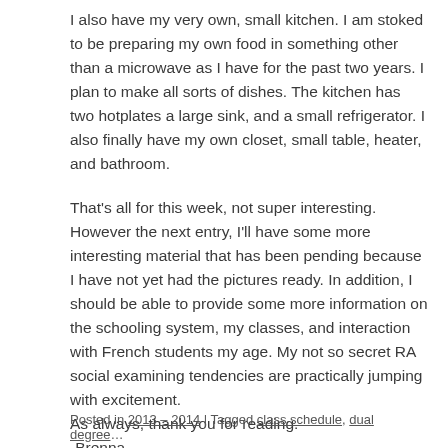I also have my very own, small kitchen. I am stoked to be preparing my own food in something other than a microwave as I have for the past two years. I plan to make all sorts of dishes. The kitchen has two hotplates a large sink, and a small refrigerator. I also finally have my own closet, small table, heater, and bathroom.
That's all for this week, not super interesting. However the next entry, I'll have some more interesting material that has been pending because I have not yet had the pictures ready. In addition, I should be able to provide some more information on the schooling system, my classes, and interaction with French students my age. My not so secret RA social examining tendencies are practically jumping with excitement.
As always, thank you for reading.
-Brenna
Posted in 2013 – 2014 | Tagged class schedule, dual degree...